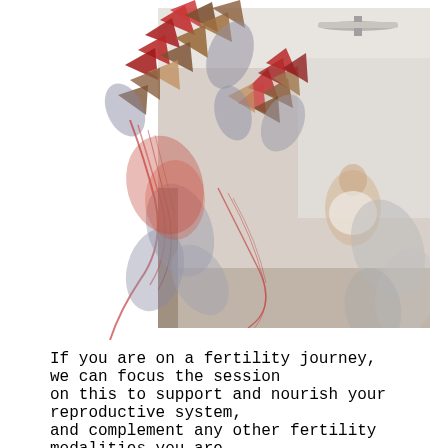[Figure (photo): A photograph showing an artistic installation with colorful folded paper or fabric shapes in the foreground (red, brown, grey leaf-like and geometric forms), and a blurred woman sitting in a white room in the background. A ceiling fan is visible at the top.]
If you are on a fertility journey, we can focus the session on this to support and nourish your reproductive system, and complement any other fertility modalities you are